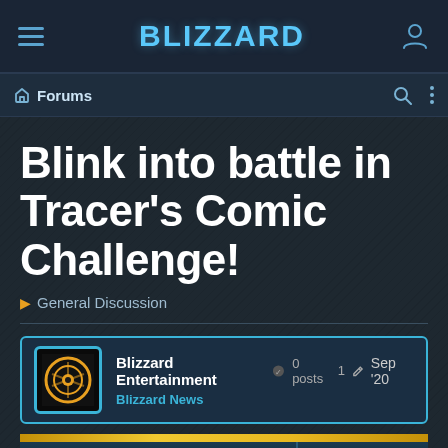BLIZZARD
Forums
Blink into battle in Tracer's Comic Challenge!
General Discussion
Blizzard Entertainment  0 posts  1  Sep '20  Blizzard News
1 / 61